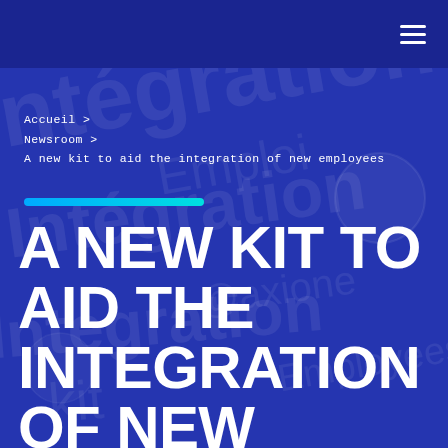≡
Accueil > Newsroom > A new kit to aid the integration of new employees
[Figure (illustration): Background watermark-style illustration with text about integration, Axione branding, overlaid on a dark blue background]
A NEW KIT TO AID THE INTEGRATION OF NEW EMPLOYEES